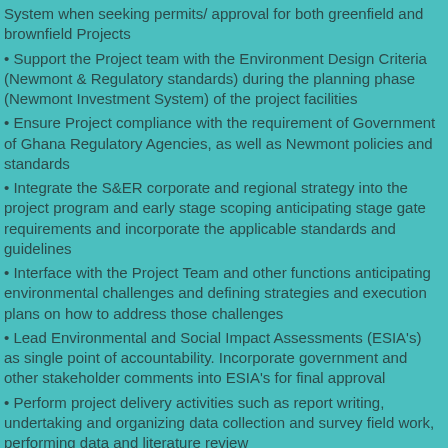System when seeking permits/ approval for both greenfield and brownfield Projects
• Support the Project team with the Environment Design Criteria (Newmont & Regulatory standards) during the planning phase (Newmont Investment System) of the project facilities
• Ensure Project compliance with the requirement of Government of Ghana Regulatory Agencies, as well as Newmont policies and standards
• Integrate the S&ER corporate and regional strategy into the project program and early stage scoping anticipating stage gate requirements and incorporate the applicable standards and guidelines
• Interface with the Project Team and other functions anticipating environmental challenges and defining strategies and execution plans on how to address those challenges
• Lead Environmental and Social Impact Assessments (ESIA's) as single point of accountability. Incorporate government and other stakeholder comments into ESIA's for final approval
• Perform project delivery activities such as report writing, undertaking and organizing data collection and survey field work, performing data and literature review
• Prepare reports, plans, permits and documents to senior leadership and regulatory authorities